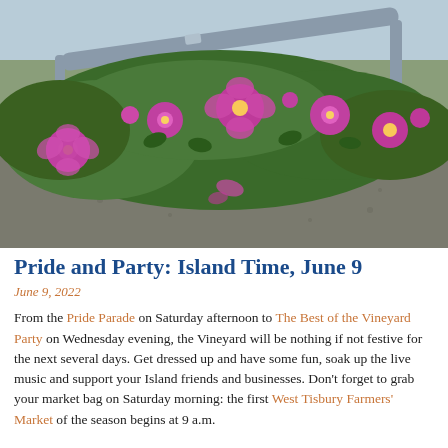[Figure (photo): Outdoor photograph of pink wild roses (rugosa roses) blooming beside a metal guardrail on a gravel path, with green foliage and a glimpse of sky and beach in the background.]
Pride and Party: Island Time, June 9
June 9, 2022
From the Pride Parade on Saturday afternoon to The Best of the Vineyard Party on Wednesday evening, the Vineyard will be nothing if not festive for the next several days. Get dressed up and have some fun, soak up the live music and support your Island friends and businesses. Don't forget to grab your market bag on Saturday morning: the first West Tisbury Farmers' Market of the season begins at 9 a.m.